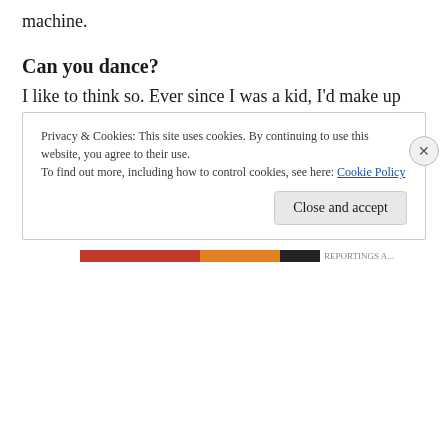machine.
Can you dance?
I like to think so. Ever since I was a kid, I'd make up dance moves to pop songs and as an adult I've used concert dvds as work-outs. I probably look like some sort of deranged maniac.
Vinyl, Tape, CD or MP3?
MP3s are really handy.
Privacy & Cookies: This site uses cookies. By continuing to use this website, you agree to their use.
To find out more, including how to control cookies, see here: Cookie Policy
Close and accept